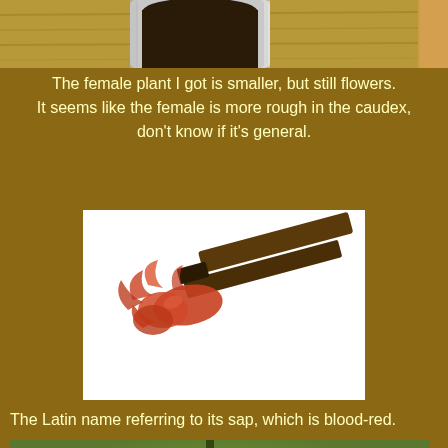[Figure (photo): A white pot with soil/plant on a wooden surface, partially cropped at the top]
The female plant I got is smaller, but still flowers. It seems like the female is more rough in the caudex, don't know if it's general.
[Figure (photo): A close-up of blood-red sap or resin smeared from a dark stick/tool onto a white background]
The Latin name referring to its sap, which is blood-red.
[Figure (photo): Close-up macro photo of a large green leaf showing veins radiating from center stem, with small flower/bud visible]